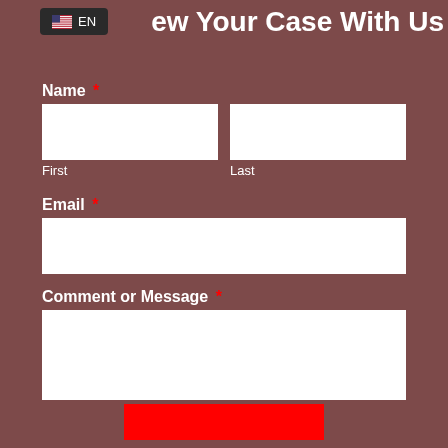ew Your Case With Us
EN
Name *
First
Last
Email *
Comment or Message *